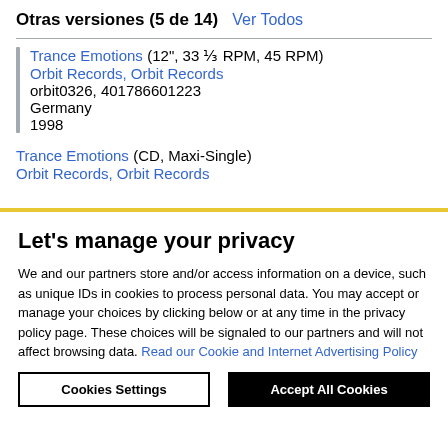Otras versiones (5 de 14)  Ver Todos
Trance Emotions (12", 33 ⅓ RPM, 45 RPM)
Orbit Records, Orbit Records
orbit0326, 401786601223
Germany
1998
Trance Emotions (CD, Maxi-Single)
Orbit Records, Orbit Records
Let's manage your privacy
We and our partners store and/or access information on a device, such as unique IDs in cookies to process personal data. You may accept or manage your choices by clicking below or at any time in the privacy policy page. These choices will be signaled to our partners and will not affect browsing data. Read our Cookie and Internet Advertising Policy
Cookies Settings
Accept All Cookies